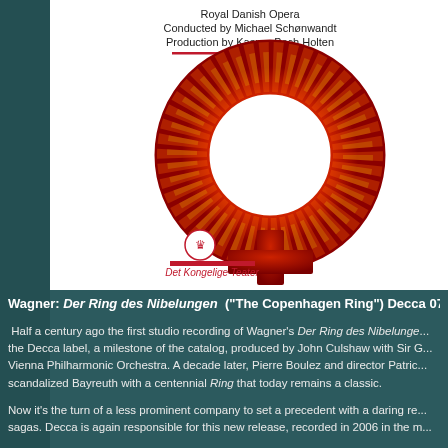[Figure (illustration): Album cover for Wagner's Der Ring des Nibelungen - The Copenhagen Ring. Shows a fiery female/Venus symbol in red, orange and yellow tones on white background. Text at top reads 'Royal Danish Opera / Conducted by Michael Schønwandt / Production by Kasper Bech Holten'. Det Kongelige Teater logo at bottom left of the cover.]
Wagner: Der Ring des Nibelungen ("The Copenhagen Ring") Decca 074326
Half a century ago the first studio recording of Wagner's Der Ring des Nibelungen appeared on the Decca label, a milestone of the catalog, produced by John Culshaw with Sir G... Vienna Philharmonic Orchestra. A decade later, Pierre Boulez and director Patric... scandalized Bayreuth with a centennial Ring that today remains a classic.
Now it's the turn of a less prominent company to set a precedent with a daring re... sagas. Decca is again responsible for this new release, recorded in 2006 in the m...